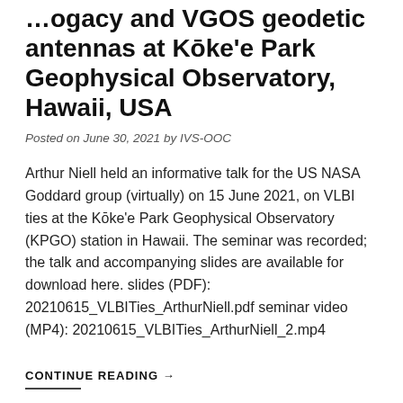…ogacy and VGOS geodetic antennas at Kōke'e Park Geophysical Observatory, Hawaii, USA
Posted on June 30, 2021 by IVS-OOC
Arthur Niell held an informative talk for the US NASA Goddard group (virtually) on 15 June 2021, on VLBI ties at the Kōke'e Park Geophysical Observatory (KPGO) station in Hawaii. The seminar was recorded; the talk and accompanying slides are available for download here. slides (PDF): 20210615_VLBITies_ArthurNiell.pdf seminar video (MP4): 20210615_VLBITies_ArthurNiell_2.mp4
CONTINUE READING →